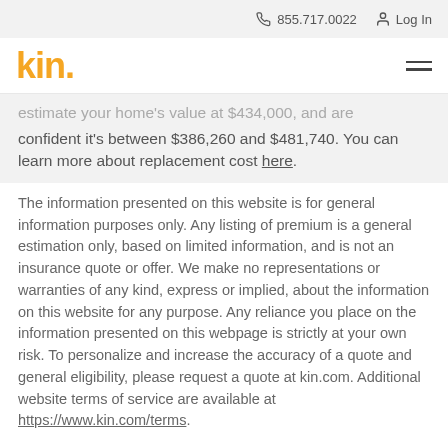855.717.0022   Log In
kin.
estimate your home's value at $434,000, and are confident it's between $386,260 and $481,740. You can learn more about replacement cost here.
The information presented on this website is for general information purposes only. Any listing of premium is a general estimation only, based on limited information, and is not an insurance quote or offer. We make no representations or warranties of any kind, express or implied, about the information on this website for any purpose. Any reliance you place on the information presented on this webpage is strictly at your own risk. To personalize and increase the accuracy of a quote and general eligibility, please request a quote at kin.com. Additional website terms of service are available at https://www.kin.com/terms.